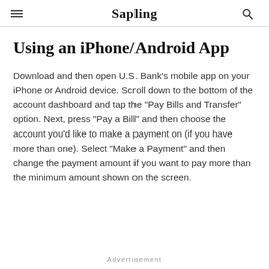Sapling
Using an iPhone/Android App
Download and then open U.S. Bank's mobile app on your iPhone or Android device. Scroll down to the bottom of the account dashboard and tap the "Pay Bills and Transfer" option. Next, press "Pay a Bill" and then choose the account you'd like to make a payment on (if you have more than one). Select "Make a Payment" and then change the payment amount if you want to pay more than the minimum amount shown on the screen.
Advertisement